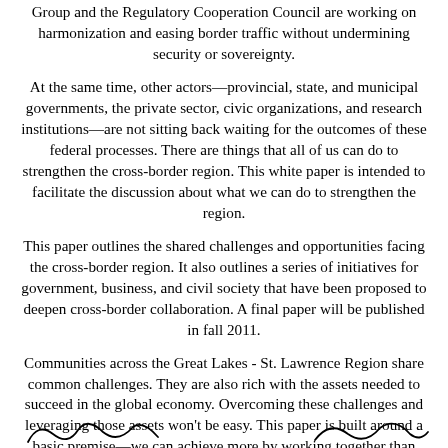Group and the Regulatory Cooperation Council are working on harmonization and easing border traffic without undermining security or sovereignty.
At the same time, other actors—provincial, state, and municipal governments, the private sector, civic organizations, and research institutions—are not sitting back waiting for the outcomes of these federal processes. There are things that all of us can do to strengthen the cross-border region. This white paper is intended to facilitate the discussion about what we can do to strengthen the region.
This paper outlines the shared challenges and opportunities facing the cross-border region. It also outlines a series of initiatives for government, business, and civil society that have been proposed to deepen cross-border collaboration. A final paper will be published in fall 2011.
Communities across the Great Lakes - St. Lawrence Region share common challenges. They are also rich with the assets needed to succeed in the global economy. Overcoming these challenges and leveraging those assets won't be easy. This paper is built around a basic premise—we can achieve more by working together than alone.
[Figure (illustration): Two partial cursive signatures at the bottom of the page]